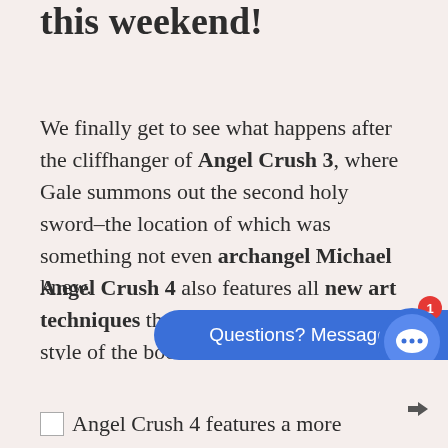this weekend!
We finally get to see what happens after the cliffhanger of Angel Crush 3, where Gale summons out the second holy sword–the location of which was something not even archangel Michael knew.
Angel Crush 4 also features all new art techniques that improved the overall style of the book. An already fantastic story with even better art? All the yes please.
[Figure (other): Blue chat button with text 'Questions? Message me!' and a circular chat icon with a notification badge showing 1]
Angel Crush 4 features a more deliciously awesome art style!